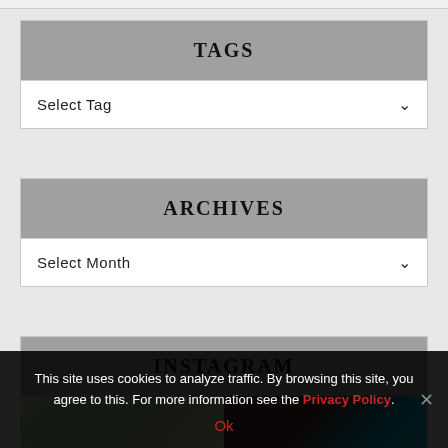TAGS
Select Tag
ARCHIVES
Select Month
INSTAGRAM
[Figure (photo): Two Instagram photo thumbnails side by side: left shows greenery/outdoor scene, right shows a dark portrait with blue background]
This site uses cookies to analyze traffic. By browsing this site, you agree to this. For more information see the Privacy Policy.
Ok